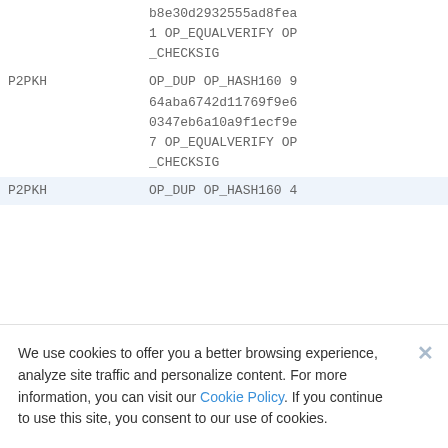| Type | Script |
| --- | --- |
|  | b8e30d2932555ad8fea1 OP_EQUALVERIFY OP_CHECKSIG |
| P2PKH | OP_DUP OP_HASH160 964aba6742d11769f9e60347eb6a10a9f1ecf9e7 OP_EQUALVERIFY OP_CHECKSIG |
| P2PKH | OP_DUP OP_HASH160 4 |
We use cookies to offer you a better browsing experience, analyze site traffic and personalize content. For more information, you can visit our Cookie Policy. If you continue to use this site, you consent to our use of cookies.